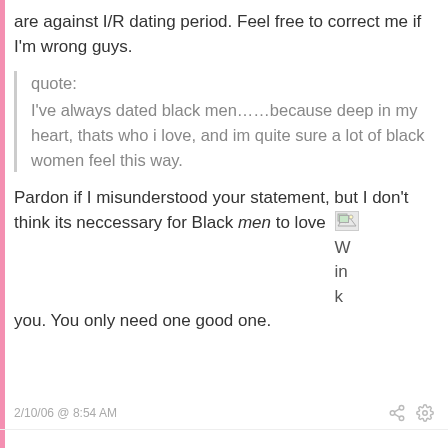are against I/R dating period. Feel free to correct me if I'm wrong guys.
quote:
I've always dated black men……because deep in my heart, thats who i love, and im quite sure a lot of black women feel this way.
Pardon if I misunderstood your statement, but I don't think its neccessary for Black men to love you. You only need one good one.
2/10/06 @ 8:54 AM